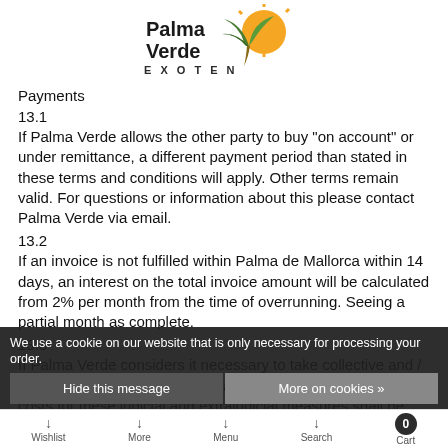[Figure (logo): Palma Verde Exoten logo with stylized palm tree and sun graphic]
Payments
13.1
If Palma Verde allows the other party to buy "on account" or under remittance, a different payment period than stated in these terms and conditions will apply. Other terms remain valid. For questions or information about this please contact Palma Verde via email.
13.2
If an invoice is not fulfilled within Palma de Mallorca within 14 days, an interest on the total invoice amount will be calculated from 2% per month from the time of overrunning. Seeing a partial month as complete.
13.3
If Palma Verde considers it necessary to take collective and / or enforcement measures repeatedly after the other party, all costs for these judicial and extrajudicial measures shall be borne by the other party.
The other party will be charged extrajudicial costs. 15% of the order.
We use a cookie on our website that is only necessary for processing your order.
Wishlist   More   Menu   Search   Cart